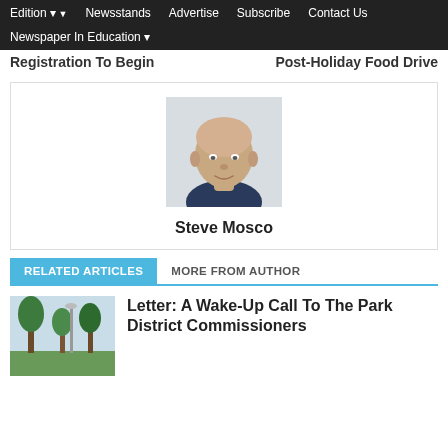Edition | Newsstands | Advertise | Subscribe | Contact Us | Newspaper In Education
Registration To Begin   Post-Holiday Food Drive
[Figure (photo): Headshot photo of a bald man in a dark shirt, smiling slightly]
Steve Mosco
RELATED ARTICLES   MORE FROM AUTHOR
[Figure (photo): Outdoor photo showing trees and a park area]
Letter: A Wake-Up Call To The Park District Commissioners